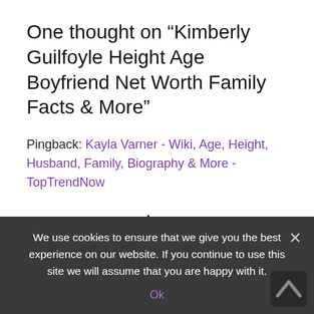One thought on “Kimberly Guilfoyle Height Age Boyfriend Net Worth Family Facts & More”
Pingback: Kayla Varner - Wiki, Age, Height, Husband, Family, Biography & More - TopTrendNow
Leave a Reply
Your email address will not be published. Required fields are marked *
Comment *
We use cookies to ensure that we give you the best experience on our website. If you continue to use this site we will assume that you are happy with it.
Ok